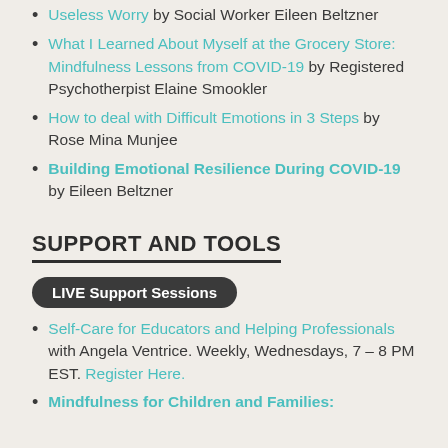Useless Worry by Social Worker Eileen Beltzner
What I Learned About Myself at the Grocery Store: Mindfulness Lessons from COVID-19 by Registered Psychotherpist Elaine Smookler
How to deal with Difficult Emotions in 3 Steps by Rose Mina Munjee
Building Emotional Resilience During COVID-19 by Eileen Beltzner
SUPPORT AND TOOLS
LIVE Support Sessions
Self-Care for Educators and Helping Professionals with Angela Ventrice. Weekly, Wednesdays, 7 – 8 PM EST. Register Here.
Mindfulness for Children and Families: